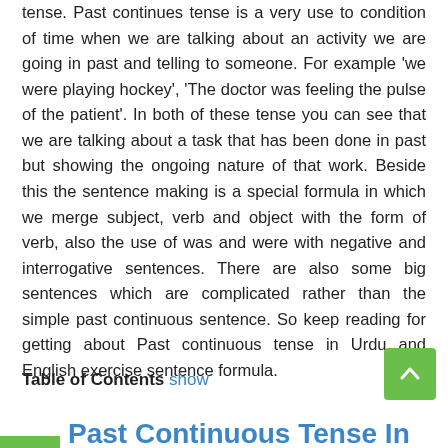tense. Past continues tense is a very use to condition of time when we are talking about an activity we are going in past and telling to someone. For example 'we were playing hockey', 'The doctor was feeling the pulse of the patient'. In both of these tense you can see that we are talking about a task that has been done in past but showing the ongoing nature of that work. Beside this the sentence making is a special formula in which we merge subject, verb and object with the form of verb, also the use of was and were with negative and interrogative sentences. There are also some big sentences which are complicated rather than the simple past continuous sentence. So keep reading for getting about Past continuous tense in Urdu and English exercise sentence formula.
Table of Contents show
Past Continuous Tense In